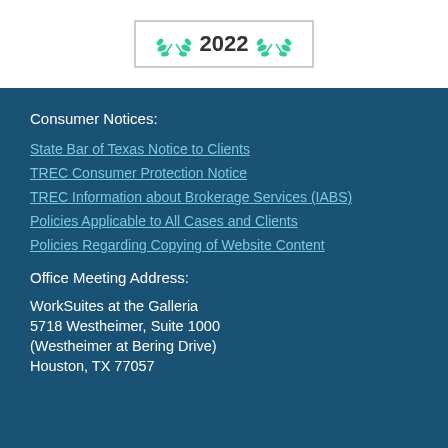[Figure (illustration): Award badge with green leaf decorations and year 2022]
Consumer Notices:
State Bar of Texas Notice to Clients
TREC Consumer Protection Notice
TREC Information about Brokerage Services (IABS)
Policies Applicable to All Cases and Clients
Policies Regarding Copying of Website Content
Office Meeting Address:
WorkSuites at the Galleria
5718 Westheimer, Suite 1000
(Westheimer at Bering Drive)
Houston, TX 77057